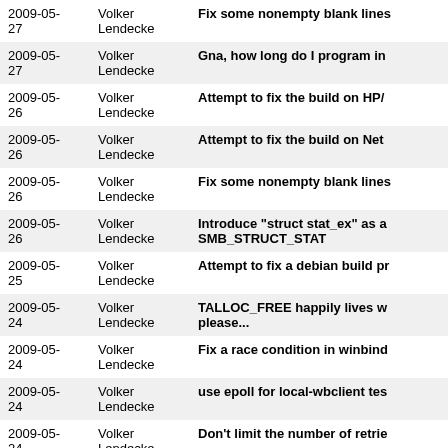| Date | Author | Message |
| --- | --- | --- |
| 2009-05-27 | Volker Lendecke | Fix some nonempty blank lines |
| 2009-05-27 | Volker Lendecke | Gna, how long do I program in |
| 2009-05-26 | Volker Lendecke | Attempt to fix the build on HP/ |
| 2009-05-26 | Volker Lendecke | Attempt to fix the build on Net |
| 2009-05-26 | Volker Lendecke | Fix some nonempty blank lines |
| 2009-05-26 | Volker Lendecke | Introduce "struct stat_ex" as a SMB_STRUCT_STAT |
| 2009-05-25 | Volker Lendecke | Attempt to fix a debian build pr |
| 2009-05-24 | Volker Lendecke | TALLOC_FREE happily lives w please... |
| 2009-05-24 | Volker Lendecke | Fix a race condition in winbind |
| 2009-05-24 | Volker Lendecke | use epoll for local-wbclient tes |
| 2009-05-24 | Volker Lendecke | Don't limit the number of retrie |